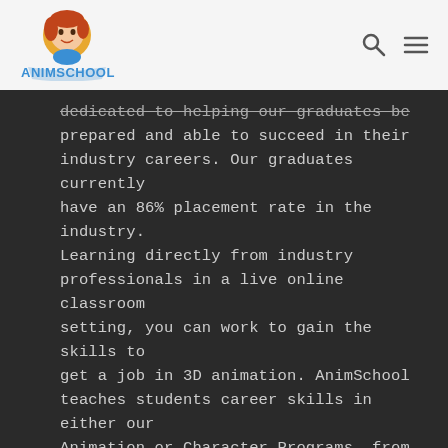ANIMSCHOOL
dedicated to helping our graduates be prepared and able to succeed in their industry careers. Our graduates currently have an 86% placement rate in the industry. Learning directly from industry professionals in a live online classroom setting, you can work to gain the skills to get a job in 3D animation. AnimSchool teaches students career skills in either our Animation or Character Programs, from the first stages of learning to ready to look for work in the industry. AnimSchool also offers individual courses for working animators, modelers, riggers, and 3D generalists needing a career boost.